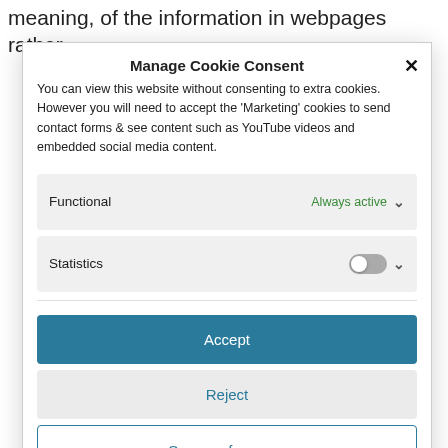meaning, of the information in webpages rather
Manage Cookie Consent
You can view this website without consenting to extra cookies. However you will need to accept the 'Marketing' cookies to send contact forms & see content such as YouTube videos and embedded social media content.
Functional — Always active
Statistics
Accept
Reject
Save preferences